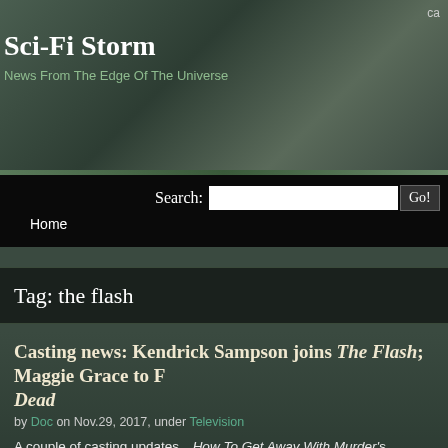ca
Sci-Fi Storm
News From The Edge Of The Universe
Search: [input] Go!
Home
Tag: the flash
Casting news: Kendrick Sampson joins The Flash; Maggie Grace to Fear The Walking Dead
by Doc on Nov.29, 2017, under Television
A couple of casting updates…How To Get Away With Murder's Kendrick Sampson is joining the cast of The Flash for a multi-episode arc. He'll play a TSA Agent who gains the meta-human power to read people's minds, whether he wants to or not. He will first appear in the last episode before the Winter break.
Maggie Grace (Taken, Lost) will join Fear The Walking Dead as a series regular for the show's fourth season. No details on the role are